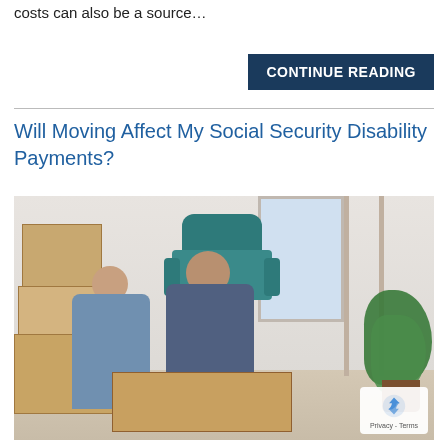costs can also be a source...
CONTINUE READING
Will Moving Affect My Social Security Disability Payments?
[Figure (photo): A couple sitting on the floor packing moving boxes in a room with a teal armchair, plant, ladder, and window in the background. A reCAPTCHA Privacy-Terms badge is visible in the bottom right corner.]